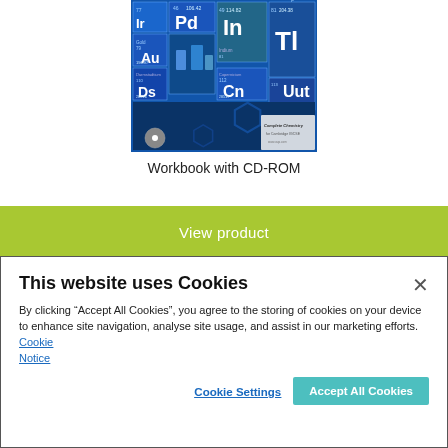[Figure (photo): Periodic table of elements image with blue background, showing element tiles including Pd, Au, In, Tl, Ds, Cn, Uut, with lab equipment visible]
Workbook with CD-ROM
View product
This website uses Cookies
By clicking “Accept All Cookies”, you agree to the storing of cookies on your device to enhance site navigation, analyse site usage, and assist in our marketing efforts.  Cookie Notice
Cookie Settings
Accept All Cookies